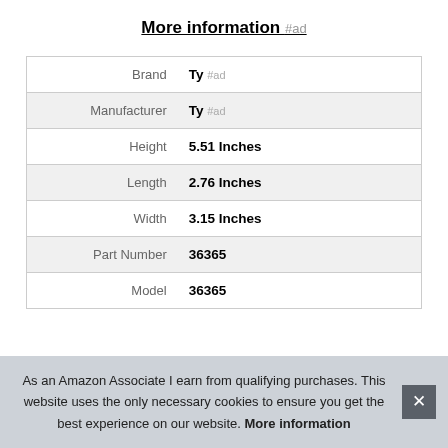More information #ad
|  |  |
| --- | --- |
| Brand | Ty #ad |
| Manufacturer | Ty #ad |
| Height | 5.51 Inches |
| Length | 2.76 Inches |
| Width | 3.15 Inches |
| Part Number | 36365 |
| Model | 36365 |
As an Amazon Associate I earn from qualifying purchases. This website uses the only necessary cookies to ensure you get the best experience on our website. More information